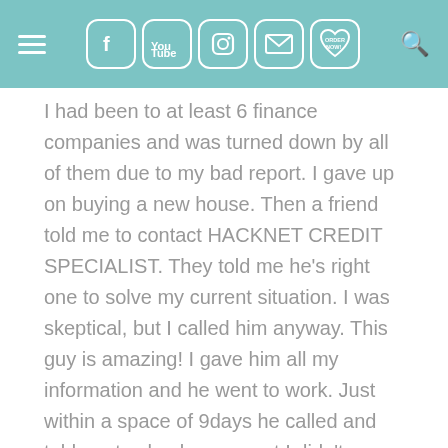[Navigation bar with hamburger menu, social icons (Facebook, YouTube, Instagram, Email, Order Now), and search icon]
I had been to at least 6 finance companies and was turned down by all of them due to my bad report. I gave up on buying a new house. Then a friend told me to contact HACKNET CREDIT SPECIALIST. They told me he's right one to solve my current situation. I was skeptical, but I called him anyway. This guy is amazing! I gave him all my information and he went to work. Just within a space of 9days he called and told me to check my report I didn't believe what I saw everything was totally cleaned up and I could go get my dream home, I almost cried. Not only did he fix my